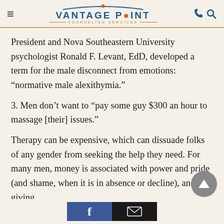Vantage Point Counseling Services
President and Nova Southeastern University psychologist Ronald F. Levant, EdD, developed a term for the male disconnect from emotions: “normative male alexithymia.”
3. Men don’t want to “pay some guy $300 an hour to massage [their] issues.”
Therapy can be expensive, which can dissuade folks of any gender from seeking the help they need. For many men, money is associated with power and pride (and shame, when it is in absence or decline), and giving